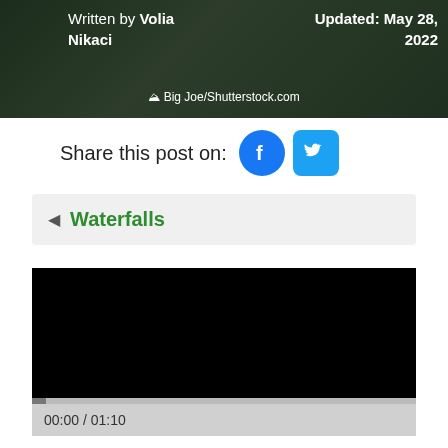Written by Volia Nikaci   Updated: May 28, 2022
Big Joe/Shutterstock.com
Share this post on:
Waterfalls
[Figure (screenshot): Embedded video player showing a black screen with progress bar at 00:00 / 01:10]